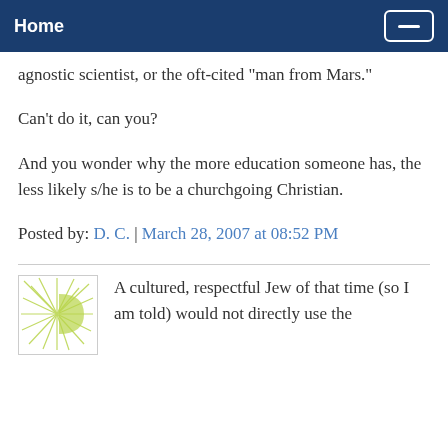Home
agnostic scientist, or the oft-cited "man from Mars."
Can't do it, can you?
And you wonder why the more education someone has, the less likely s/he is to be a churchgoing Christian.
Posted by: D. C. | March 28, 2007 at 08:52 PM
A cultured, respectful Jew of that time (so I am told) would not directly use the